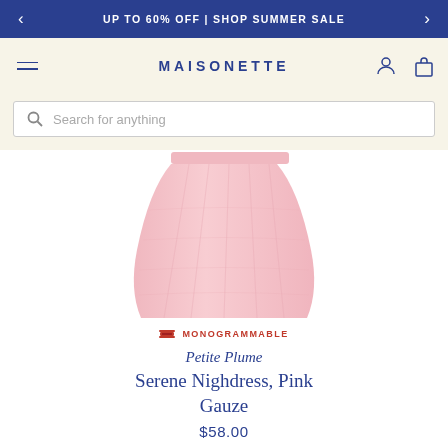UP TO 60% OFF | SHOP SUMMER SALE
MAISONETTE
Search for anything
[Figure (photo): Pink gauze nightdress/skirt product photo on white background]
MONOGRAMMABLE
Petite Plume
Serene Nighdress, Pink Gauze
$58.00